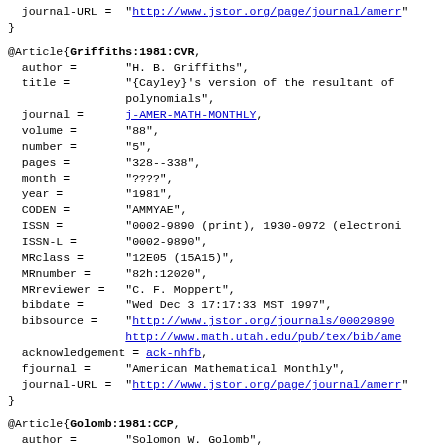journal-URL = "http://www.jstor.org/page/journal/amerr"
}
@Article{Griffiths:1981:CVR,
  author =       "H. B. Griffiths",
  title =        "{Cayley}'s version of the resultant of polynomials",
  journal =      j-AMER-MATH-MONTHLY,
  volume =       "88",
  number =       "5",
  pages =        "328--338",
  month =        "????",
  year =         "1981",
  CODEN =        "AMMYAE",
  ISSN =         "0002-9890 (print), 1930-0972 (electroni
  ISSN-L =       "0002-9890",
  MRclass =      "12E05 (15A15)",
  MRnumber =     "82h:12020",
  MRreviewer =   "C. F. Moppert",
  bibdate =      "Wed Dec 3 17:17:33 MST 1997",
  bibsource =    "http://www.jstor.org/journals/00029890
                 http://www.math.utah.edu/pub/tex/bib/ame
  acknowledgement = ack-nhfb,
  fjournal =     "American Mathematical Monthly",
  journal-URL =  "http://www.jstor.org/page/journal/amerr"
}
@Article{Golomb:1981:CCP,
  author =       "Solomon W. Golomb",
  title =        "Corrections to: {{Cyclotomic polynom